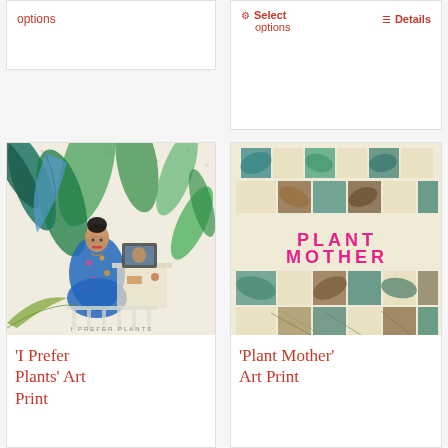options
Select options   Details
[Figure (illustration): Colorful illustration of a woman surrounded by tropical plants in a room, with text 'I PREFER PLANTS' at the bottom]
[Figure (illustration): Decorative art print with overlapping tropical leaf patterns in teal, brown, and green tones, with 'PLANT MOTHER' text in pink]
'I Prefer Plants' Art Print
'Plant Mother' Art Print